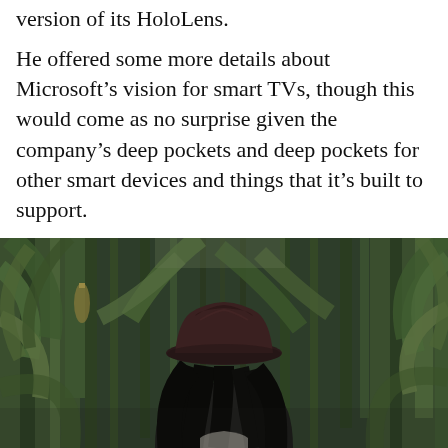version of its HoloLens.
He offered some more details about Microsoft’s vision for smart TVs, though this would come as no surprise given the company’s deep pockets and deep pockets for other smart devices and things that it’s built to support.
[Figure (photo): A young woman with long dark hair, wearing a dark maroon/brown wide-brim hat, seen from behind, standing in front of a lush green cornfield with tall corn stalks and large leaves filling the background.]